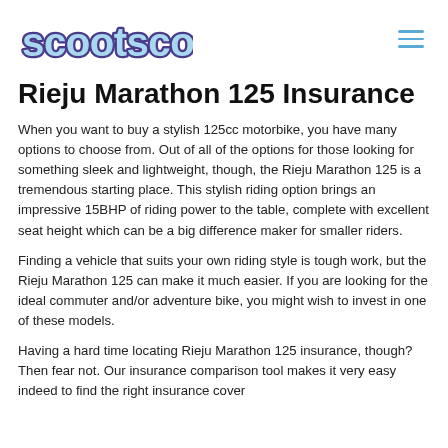[Figure (logo): ScootScoot logo in rounded bubbly font with light blue fill and dark purple outline, and a hamburger menu icon in light blue at top right]
Rieju Marathon 125 Insurance
When you want to buy a stylish 125cc motorbike, you have many options to choose from. Out of all of the options for those looking for something sleek and lightweight, though, the Rieju Marathon 125 is a tremendous starting place. This stylish riding option brings an impressive 15BHP of riding power to the table, complete with excellent seat height which can be a big difference maker for smaller riders.
Finding a vehicle that suits your own riding style is tough work, but the Rieju Marathon 125 can make it much easier. If you are looking for the ideal commuter and/or adventure bike, you might wish to invest in one of these models.
Having a hard time locating Rieju Marathon 125 insurance, though? Then fear not. Our insurance comparison tool makes it very easy indeed to find the right insurance cover